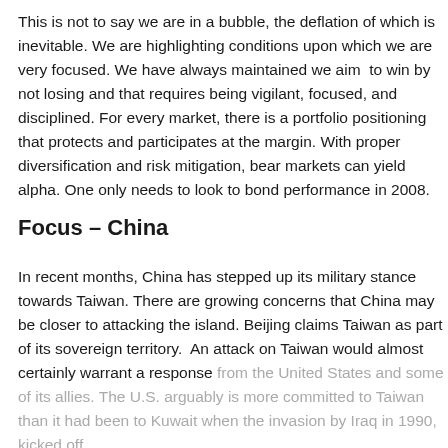This is not to say we are in a bubble, the deflation of which is inevitable. We are highlighting conditions upon which we are very focused. We have always maintained we aim to win by not losing and that requires being vigilant, focused, and disciplined. For every market, there is a portfolio positioning that protects and participates at the margin. With proper diversification and risk mitigation, bear markets can yield alpha. One only needs to look to bond performance in 2008.
Focus – China
In recent months, China has stepped up its military stance towards Taiwan. There are growing concerns that China may be closer to attacking the island. Beijing claims Taiwan as part of its sovereign territory. An attack on Taiwan would almost certainly warrant a response from the United States and some of its allies. The U.S. arguably is more committed to Taiwan than it had been to Kuwait when the invasion by Iraq in 1990, kicked off...